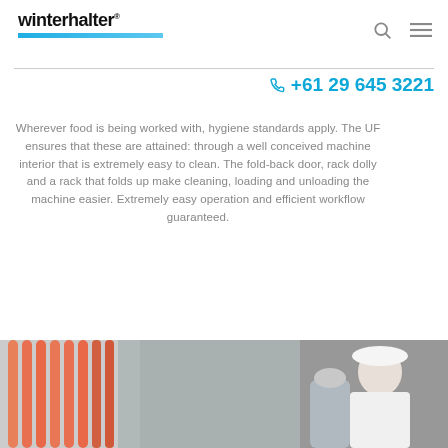[Figure (logo): Winterhalter logo with blue bar underline]
+61 29 645 3221
Wherever food is being worked with, hygiene standards apply. The UF ensures that these are attained: through a well conceived machine interior that is extremely easy to clean. The fold-back door, rack dolly and a rack that folds up make cleaning, loading and unloading the machine easier. Extremely easy operation and efficient workflow guaranteed.
[Figure (photo): Bottom image showing sausages on rack and a worker in white uniform with food processing equipment]